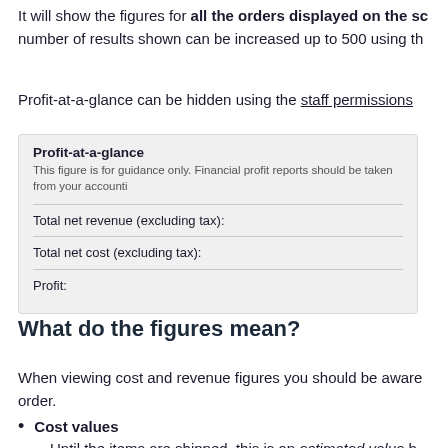It will show the figures for all the orders displayed on the screen. The number of results shown can be increased up to 500 using the
Profit-at-a-glance can be hidden using the staff permissions
[Figure (screenshot): Profit-at-a-glance UI box showing Total net revenue (excluding tax), Total net cost (excluding tax), and Profit rows]
What do the figures mean?
When viewing cost and revenue figures you should be aware of the type of figures shown for each order.
Cost values
Until the items are shipped, this is an estimated value b